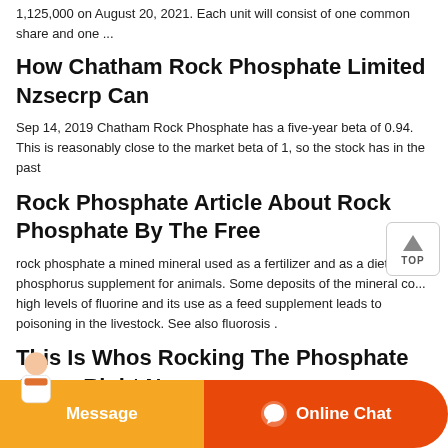1,125,000 on August 20, 2021. Each unit will consist of one common share and one ...
How Chatham Rock Phosphate Limited Nzsecrp Can
Sep 14, 2019 Chatham Rock Phosphate has a five-year beta of 0.94. This is reasonably close to the market beta of 1, so the stock has in the past
Rock Phosphate Article About Rock Phosphate By The Free
rock phosphate a mined mineral used as a fertilizer and as a dietary phosphorus supplement for animals. Some deposits of the mineral co... high levels of fluorine and its use as a feed supplement leads to poisoning in the livestock. See also fluorosis .
This Is Whos Rocking The Phosphate Game Right Now
Jun 26, 2019 In the past, rock phosphate was used to supercharge inorganic fertilisers like superphosphate this is what most of the Australian miners are aiming their production for. To use the organic raw
cent